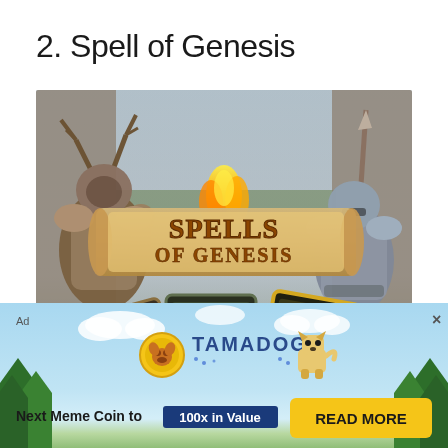2. Spell of Genesis
[Figure (screenshot): Spells of Genesis game promotional image showing fantasy warrior characters on left and right sides, with a central gold/fire banner reading 'SPELLS OF GENESIS' and trading cards displayed at the bottom]
[Figure (infographic): Tamadoge advertisement banner with sky/trees background, Tamadoge coin logo and dog character, text 'Next Meme Coin to 100x in Value' with READ MORE button]